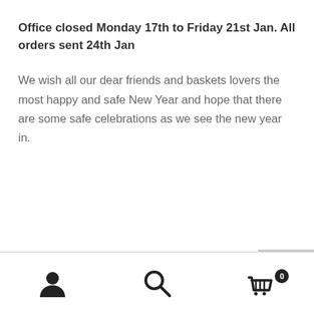Office closed Monday 17th to Friday 21st Jan. All orders sent 24th Jan
We wish all our dear friends and baskets lovers the most happy and safe New Year and hope that there are some safe celebrations as we see the new year in.
[user icon] [search icon] [cart icon with 0]